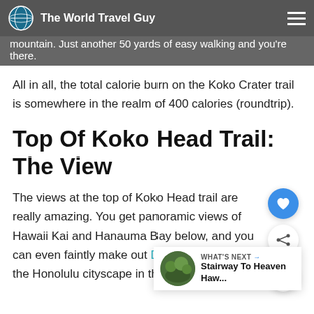The World Travel Guy
mountain. Just another 50 yards of easy walking and you're there.
All in all, the total calorie burn on the Koko Crater trail is somewhere in the realm of 400 calories (roundtrip).
Top Of Koko Head Trail: The View
The views at the top of Koko Head trail are really amazing. You get panoramic views of Hawaii Kai and Hanauma Bay below, and you can even faintly make out Diamond Head and the Honolulu cityscape in the distance.